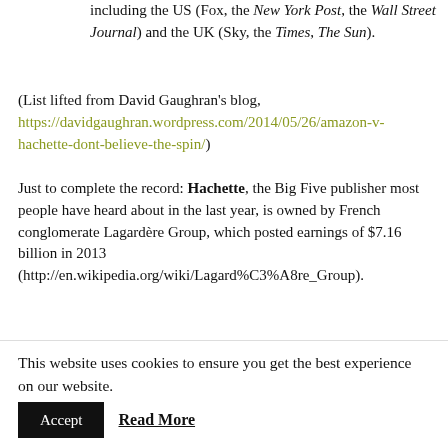including the US (Fox, the New York Post, the Wall Street Journal) and the UK (Sky, the Times, The Sun).
(List lifted from David Gaughran’s blog, https://davidgaughran.wordpress.com/2014/05/26/amazon-v-hachette-dont-believe-the-spin/)
Just to complete the record: Hachette, the Big Five publisher most people have heard about in the last year, is owned by French conglomerate Lagardère Group, which posted earnings of $7.16 billion in 2013 (http://en.wikipedia.org/wiki/Lagard%C3%A8re_Group).
This is no David and Goliath story, ladies and
This website uses cookies to ensure you get the best experience on our website.
Accept  Read More